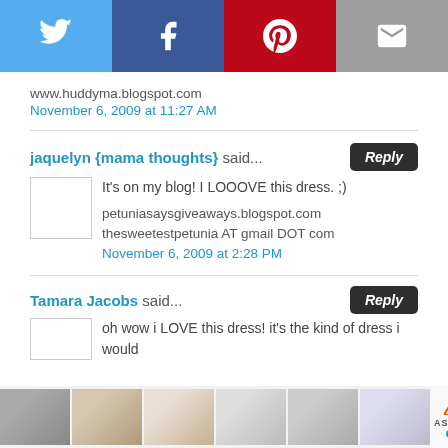[Figure (infographic): Social share bar with Twitter (blue), Facebook (dark blue), Pinterest (red), and email (grey) buttons]
www.huddyma.blogspot.com
November 6, 2009 at 11:27 AM
jaquelyn {mama thoughts} said...
It's on my blog! I LOOOVE this dress. ;)
petuniasaysgiveaways.blogspot.com
thesweetestpetunia AT gmail DOT com
November 6, 2009 at 2:28 PM
Tamara Jacobs said...
oh wow i LOVE this dress! it's the kind of dress i would
[Figure (infographic): Advertisement bar with bedroom furniture images and Ashley Furniture logo]